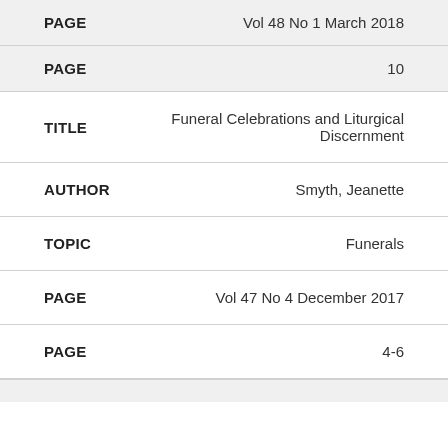| Field | Value |
| --- | --- |
| PAGE | Vol 48 No 1 March 2018 |
| PAGE | 10 |
| TITLE | Funeral Celebrations and Liturgical Discernment |
| AUTHOR | Smyth, Jeanette |
| TOPIC | Funerals |
| PAGE | Vol 47 No 4 December 2017 |
| PAGE | 4-6 |